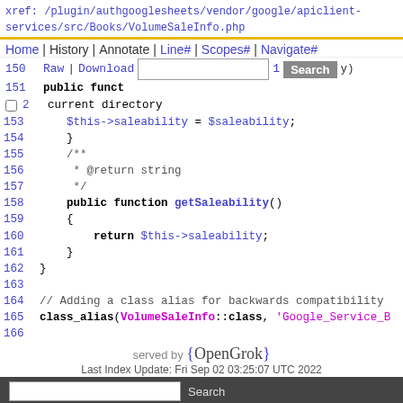xref: /plugin/authgooglesheets/vendor/google/apiclient-services/src/Books/VolumeSaleInfo.php
Home | History | Annotate | Line# | Scopes# | Navigate#
150 Raw | Download [search input] Search (y)
151 public funct
□ 2 current directory
153    $this->saleability = $saleability;
154    }
155    /**
156     * @return string
157     */
158    public function getSaleability()
159    {
160        return $this->saleability;
161    }
162    }
163
164    // Adding a class alias for backwards compatibility
165    class_alias(VolumeSaleInfo::class, 'Google_Service_B
166
served by {OpenGrok}
Last Index Update: Fri Sep 02 03:25:07 UTC 2022
Search  Download  Wiki  Forum  IRC  Bugs  Translate  Git  XRef  Code Search